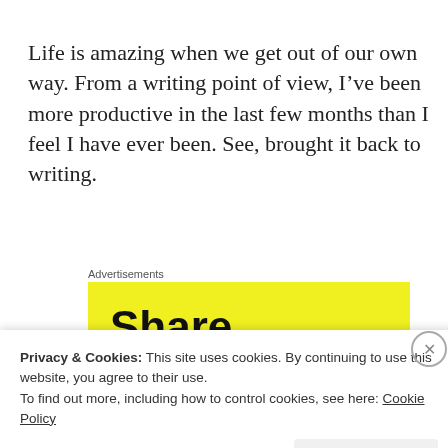Life is amazing when we get out of our own way. From a writing point of view, I’ve been more productive in the last few months than I feel I have ever been. See, brought it back to writing.
Advertisements
[Figure (other): Yellow advertisement banner with bold text reading 'Share, Discuss']
Privacy & Cookies: This site uses cookies. By continuing to use this website, you agree to their use.
To find out more, including how to control cookies, see here: Cookie Policy
Close and accept